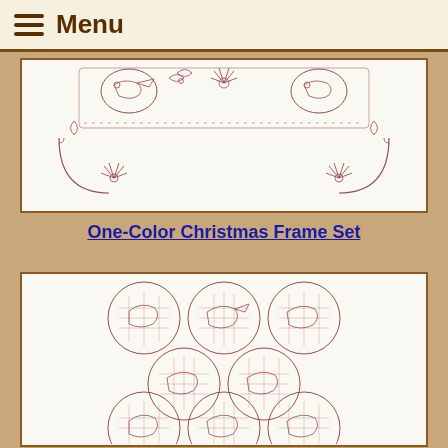Menu
[Figure (illustration): Redwork-style embroidery design showing Christmas frames with birds, poinsettias, holly, and decorative scrollwork arranged in an ornate border pattern]
One-Color Christmas Frame Set
[Figure (illustration): Redwork-style embroidery design showing multiple circular stained-glass medallions featuring birds, arranged in a cluster pattern]